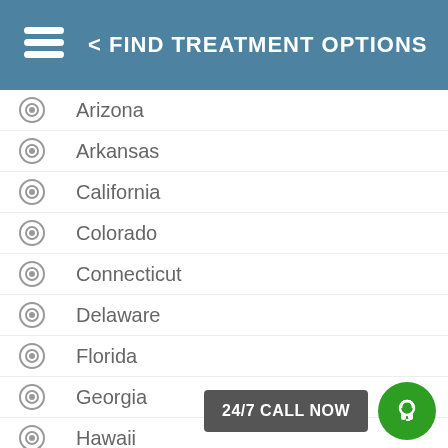< FIND TREATMENT OPTIONS
Arizona
Arkansas
California
Colorado
Connecticut
Delaware
Florida
Georgia
Hawaii
Idaho
Illinois
Indiana
Iowa
24/7 CALL NOW